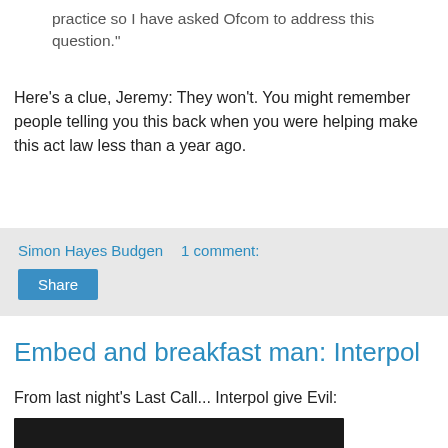practice so I have asked Ofcom to address this question."
Here's a clue, Jeremy: They won't. You might remember people telling you this back when you were helping make this act law less than a year ago.
Simon Hayes Budgen    1 comment:
Share
Embed and breakfast man: Interpol
From last night's Last Call... Interpol give Evil:
[Figure (screenshot): Embedded video player showing 'Video unavailable - This video contains content from']